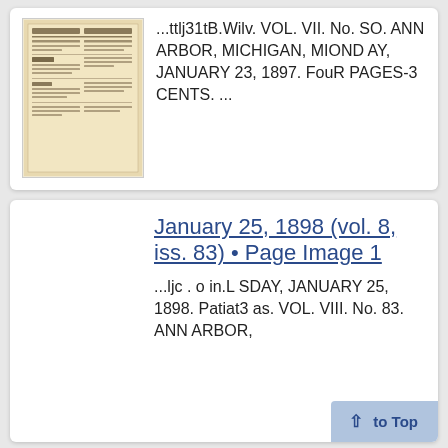[Figure (photo): Thumbnail of a historical newspaper page, yellowed paper with small text columns.]
...ttlj31tB.Wilv. VOL. VII. No. SO. ANN ARBOR, MICHIGAN, MIOND AY, JANUARY 23, 1897. FouR PAGES-3 CENTS. ...
January 25, 1898 (vol. 8, iss. 83) • Page Image 1
...ljc . o in.L SDAY, JANUARY 25, 1898. Patiat3 as. VOL. VIII. No. 83. ANN ARBOR,